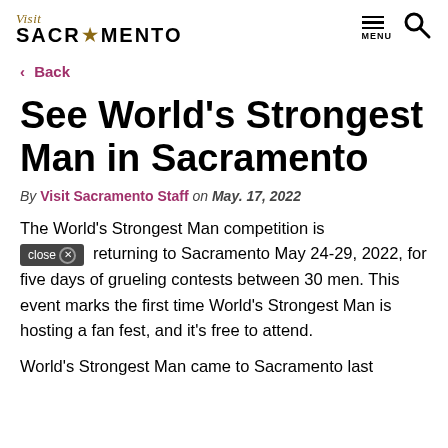Visit Sacramento — MENU
< Back
See World's Strongest Man in Sacramento
By Visit Sacramento Staff on May. 17, 2022
The World's Strongest Man competition is returning to Sacramento May 24-29, 2022, for five days of grueling contests between 30 men. This event marks the first time World's Strongest Man is hosting a fan fest, and it's free to attend.
World's Strongest Man came to Sacramento last